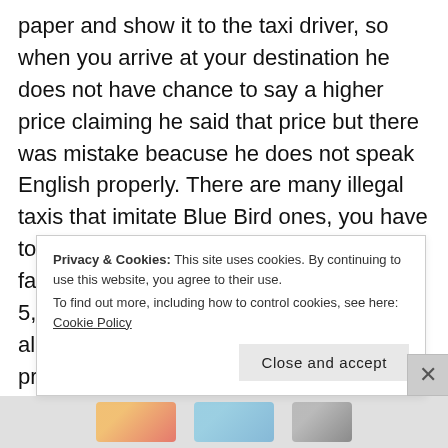paper and show it to the taxi driver, so when you arrive at your destination he does not have chance to say a higher price claiming he said that price but there was mistake beacuse he does not speak English properly. There are many illegal taxis that imitate Blue Bird ones, you have to pay attention about this. The minimum fare is Rp 7,000 for two km, then up Rp 5,000 per km. Further north of Denpasar almost all taxis require negotiate the price.
Uber has recently started in Bali, but for once, its services are now less reliable than those of
Privacy & Cookies: This site uses cookies. By continuing to use this website, you agree to their use.
To find out more, including how to control cookies, see here: Cookie Policy